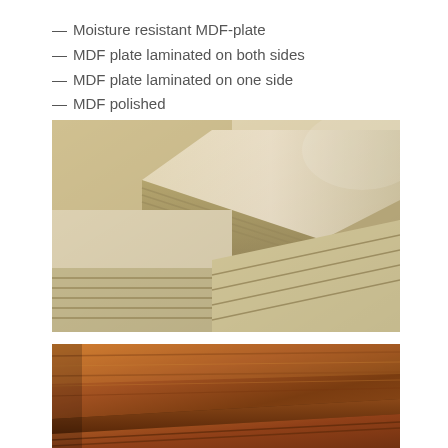— Moisture resistant MDF-plate
— MDF plate laminated on both sides
— MDF plate laminated on one side
— MDF polished
[Figure (photo): Stack of MDF boards photographed at an angle showing the layered edges, beige/cream colored compressed wood fiber panels]
[Figure (photo): Close-up of laminated MDF boards showing wood-grain laminate surface in warm brown tones, stacked at an angle]